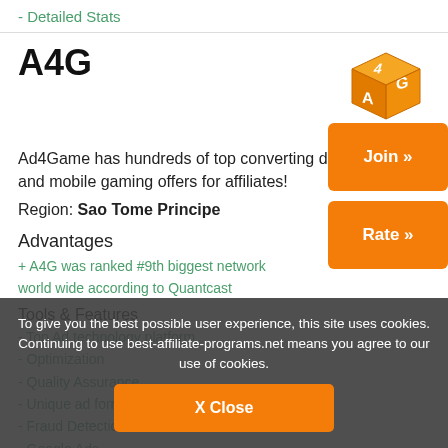- Detailed Stats
A4G
[Figure (logo): A4G orange cube logo with letter A, 4, G on faces]
Ad4Game has hundreds of top converting display and mobile gaming offers for affiliates!
Region: Sao Tome Principe
Advantages
+ A4G was ranked #9th biggest network world wide according to Quantcast
Tools & Features
- Top Ad technology platform
- Optimization
- Quality Assurance
- Unique ad formats
- Fraud Detection
- Google Ads
To give you the best possible user experience, this site uses cookies. Continuing to use best-affiliate-programs.net means you agree to our use of cookies.
X Close